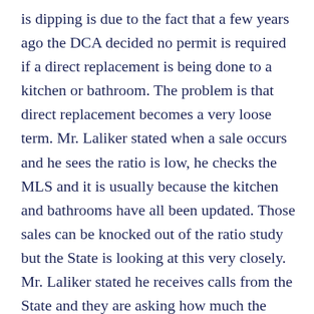is dipping is due to the fact that a few years ago the DCA decided no permit is required if a direct replacement is being done to a kitchen or bathroom. The problem is that direct replacement becomes a very loose term. Mr. Laliker stated when a sale occurs and he sees the ratio is low, he checks the MLS and it is usually because the kitchen and bathrooms have all been updated. Those sales can be knocked out of the ratio study but the State is looking at this very closely. Mr. Laliker stated he receives calls from the State and they are asking how much the increase is and sometimes they tell him the increase is not enough. It is a frustrating situation. Mr. Laliker stated just before tonight's meeting he prepared a COAH payment for a new